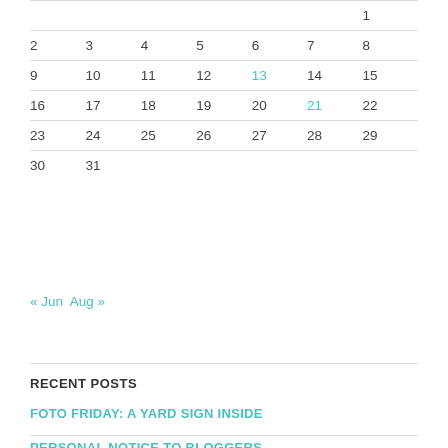|  |  |  |  |  |  | 1 |
| 2 | 3 | 4 | 5 | 6 | 7 | 8 |
| 9 | 10 | 11 | 12 | 13 | 14 | 15 |
| 16 | 17 | 18 | 19 | 20 | 21 | 22 |
| 23 | 24 | 25 | 26 | 27 | 28 | 29 |
| 30 | 31 |  |  |  |  |  |
« Jun  Aug »
RECENT POSTS
FOTO FRIDAY: A YARD SIGN INSIDE
PERSONAL NOTICE TO BLOGGERS